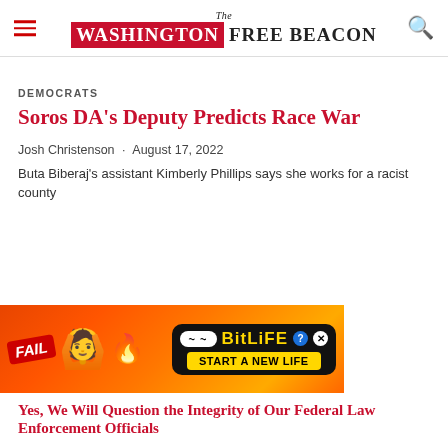The Washington Free Beacon
DEMOCRATS
Soros DA's Deputy Predicts Race War
Josh Christenson · August 17, 2022
Buta Biberaj's assistant Kimberly Phillips says she works for a racist county
[Figure (photo): BitLife advertisement banner with FAIL badge, cartoon girl, flames, and 'START A NEW LIFE' button]
Yes, We Will Question the Integrity of Our Federal Law Enforcement Officials